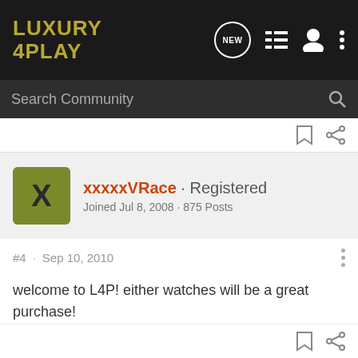LUXURY 4PLAY
Search Community
xxxxxVRace · Registered
Joined Jul 8, 2008 · 875 Posts
#4 · Sep 10, 2010
welcome to L4P! either watches will be a great purchase!